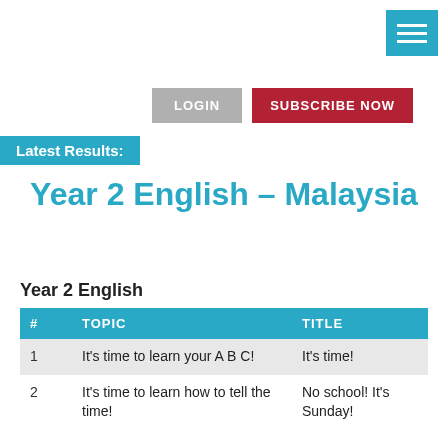[Figure (other): Hamburger menu icon — three white horizontal lines on a teal/cyan square background, positioned top-right]
LOGIN
SUBSCRIBE NOW
Latest Results:
Year 2 English – Malaysia
Year 2 English
| # | TOPIC | TITLE |
| --- | --- | --- |
| 1 | It's time to learn your A B C! | It's time! |
| 2 | It's time to learn how to tell the time! | No school! It's Sunday! |